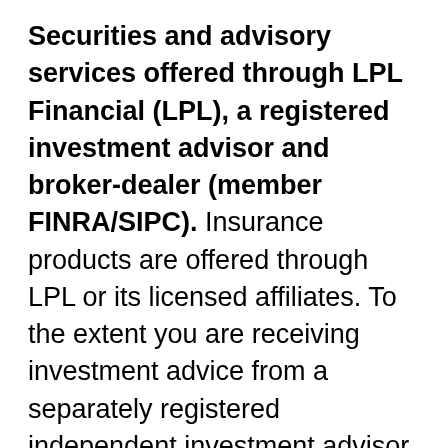Securities and advisory services offered through LPL Financial (LPL), a registered investment advisor and broker-dealer (member FINRA/SIPC). Insurance products are offered through LPL or its licensed affiliates. To the extent you are receiving investment advice from a separately registered independent investment advisor that is not an LPL affiliate, please note LPL makes no representation with respect to such entity.